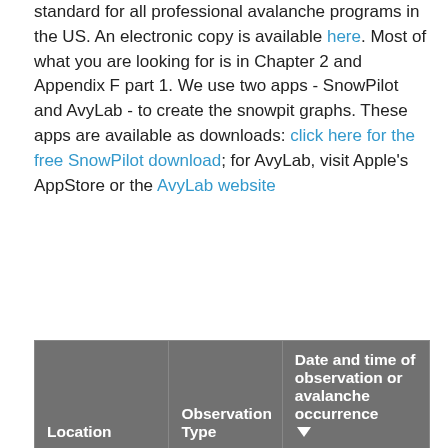standard for all professional avalanche programs in the US. An electronic copy is available here. Most of what you are looking for is in Chapter 2 and Appendix F part 1. We use two apps - SnowPilot and AvyLab - to create the snowpit graphs. These apps are available as downloads: click here for the free SnowPilot download; for AvyLab, visit Apple's AppStore or the AvyLab website
| Location | Observation Type | Date and time of observation or avalanche occurrence ▼ |
| --- | --- | --- |
| > Twin
Lakes | Snowpack Observation | 02/21/2022 - 18:01 |
| > Mt
Emma | Snowpack Observation | 02/20/2022 - 17:28 |